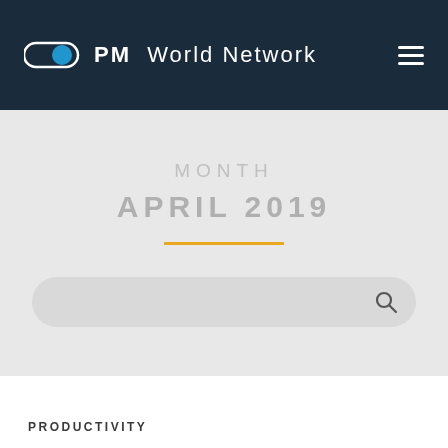PM World Network
MONTH
APRIL 2019
PRODUCTIVITY